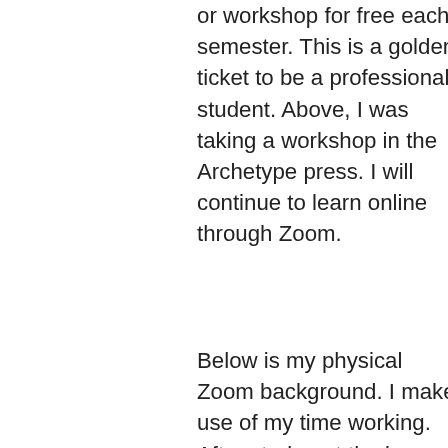or workshop for free each semester. This is a golden ticket to be a professional student. Above, I was taking a workshop in the Archetype press. I will continue to learn online through Zoom.
Below is my physical Zoom background. I make use of my time working. After staring at the image for hours from the Zoom meeting from